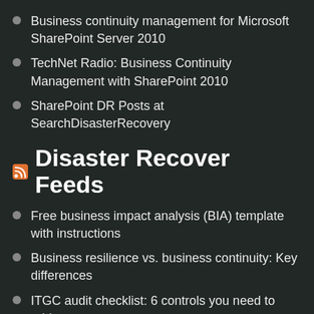Business continuity management for Microsoft SharePoint Server 2010
TechNet Radio: Business Continuity Management with SharePoint 2010
SharePoint DR Posts at SearchDisasterRecovery
Disaster Recover Feeds
Free business impact analysis (BIA) template with instructions
Business resilience vs. business continuity: Key differences
ITGC audit checklist: 6 controls you need to address
disaster recovery plan (DRP)
business continuity software